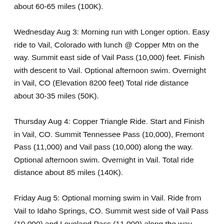about 60-65 miles (100K). Wednesday Aug 3: Morning run with Longer option. Easy ride to Vail, Colorado with lunch @ Copper Mtn on the way. Summit east side of Vail Pass (10,000) feet. Finish with descent to Vail. Optional afternoon swim. Overnight in Vail, CO (Elevation 8200 feet) Total ride distance about 30-35 miles (50K). Thursday Aug 4: Copper Triangle Ride. Start and Finish in Vail, CO. Summit Tennessee Pass (10,000), Fremont Pass (11,000) and Vail pass (10,000) along the way. Optional afternoon swim. Overnight in Vail. Total ride distance about 85 miles (140K). Friday Aug 5: Optional morning swim in Vail. Ride from Vail to Idaho Springs, CO. Summit west side of Vail Pass (10,000) and Loveland Pass (11,000) along the way. Total Ride distance about 80-85 miles